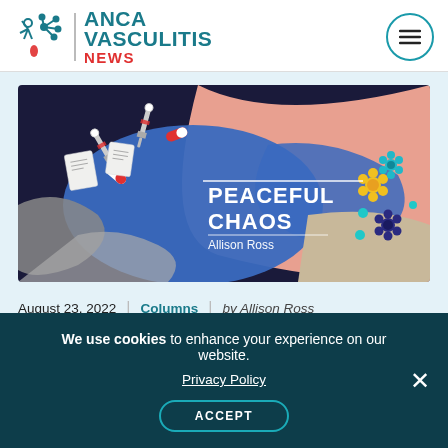ANCA VASCULITIS NEWS
[Figure (illustration): Colorful illustration banner for 'Peaceful Chaos' column by Allison Ross — showing medical items (syringes, pills, documents) on a dark background blending into blue and pink abstract shapes with flowers on the right side. Text overlay: PEACEFUL CHAOS / Allison Ross]
August 23, 2022 | Columns | by Allison Ross
We use cookies to enhance your experience on our website. Privacy Policy ACCEPT